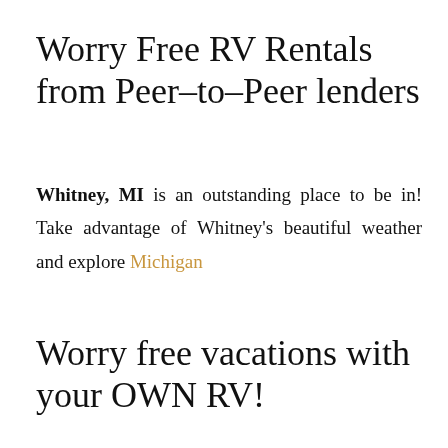Worry Free RV Rentals from Peer-to-Peer lenders
Whitney, MI is an outstanding place to be in! Take advantage of Whitney's beautiful weather and explore Michigan
Worry free vacations with your OWN RV!